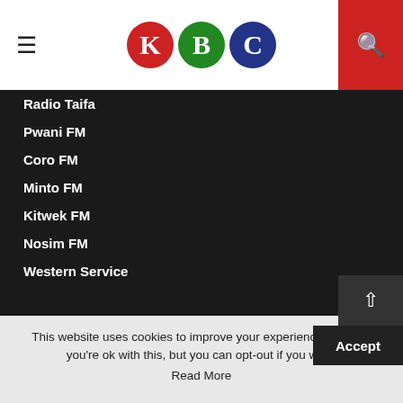[Figure (logo): KBC logo with three colored circles: K in red, B in green, C in blue]
Radio Taifa
Pwani FM
Coro FM
Minto FM
Kitwek FM
Nosim FM
Western Service
OUR RADIOS
English Service
This website uses cookies to improve your experience. We'll as you're ok with this, but you can opt-out if you wish.
Read More